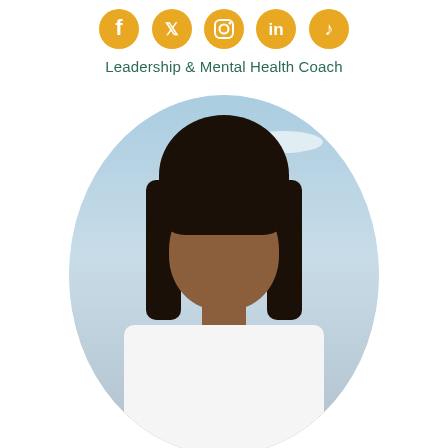[Figure (illustration): Row of 5 social media icons (Facebook, Twitter, Instagram, LinkedIn, TikTok) in golden/amber color]
Leadership & Mental Health Coach
[Figure (photo): Portrait photo of a young woman with straight black hair, wearing a white top, smiling, set in an oval/egg-shaped frame with a blurred outdoor background showing sky and buildings]